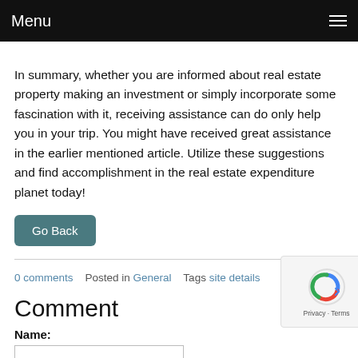Menu
In summary, whether you are informed about real estate property making an investment or simply incorporate some fascination with it, receiving assistance can do only help you in your trip. You might have received great assistance in the earlier mentioned article. Utilize these suggestions and find accomplishment in the real estate expenditure planet today!
Go Back
0 comments   Posted in General   Tags site details
Comment
Name: